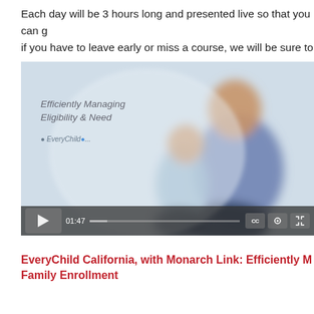Each day will be 3 hours long and presented live so that you can g… if you have to leave early or miss a course, we will be sure to pro… miss a moment of this valuable professional development oppor…
[Figure (screenshot): Embedded video thumbnail showing a blurred image of a man and child sitting together against a light background, with text overlay 'Efficiently Managing Eligibility & Need' and a logo. Video player controls show timestamp 01:47, play button, progress bar, CC, settings, and fullscreen icons.]
EveryChild California, with Monarch Link: Efficiently M… Family Enrollment